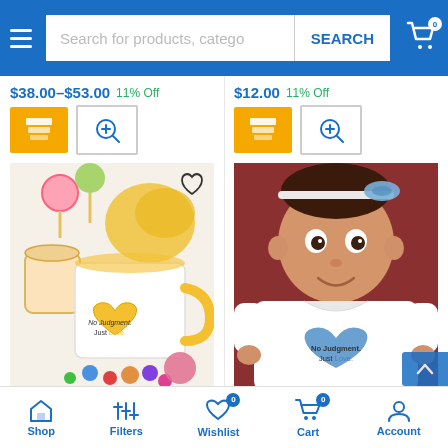Search for products, catego | SEARCH | Cart 0
$38.00–$53.00  11% Off
$12.00  11% Off
[Figure (photo): Mug with Yellow Color Inside - white mug with yellow handle and No Judgment. Just Love. text, surrounded by candy]
[Figure (photo): Blue Unisex Baby Onesie - baby wearing white onesie with blue No Judgment. Just Love. logo]
Mug with Yellow Color Inside
Blue Unisex Baby Onesie
Sold By: No Judgment. Just Love.
Sold By: No Judgment. Just Love.
Shop | Filters | Wishlist 0 | Cart 0 | Account